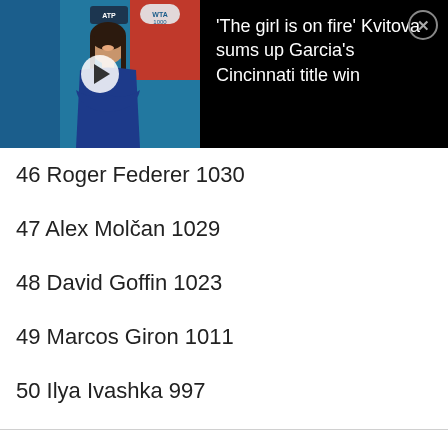[Figure (screenshot): Video thumbnail showing a female tennis player smiling at a press conference with ATP Tour and WTA 1000 logos visible, overlaid with a play button. Next to it is a black panel with white text headline about Kvitova and Garcia's Cincinnati title win, with a close button.]
46 Roger Federer 1030
47 Alex Molčan 1029
48 David Goffin 1023
49 Marcos Giron 1011
50 Ilya Ivashka 997
51 Laslo Djere 991
52 Fabio Fognini 986